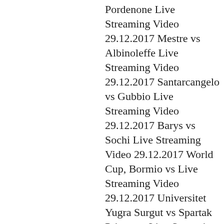Pordenone Live Streaming Video 29.12.2017 Mestre vs Albinoleffe Live Streaming Video 29.12.2017 Santarcangelo vs Gubbio Live Streaming Video 29.12.2017 Barys vs Sochi Live Streaming Video 29.12.2017 World Cup, Bormio vs Live Streaming Video 29.12.2017 Universitet Yugra Surgut vs Spartak Primorye Live Streaming Video 29.12.2017 Avtomobilist vs Dynamo Moscow Live Streaming Video 29.12.2017 Yugra vs Salavat